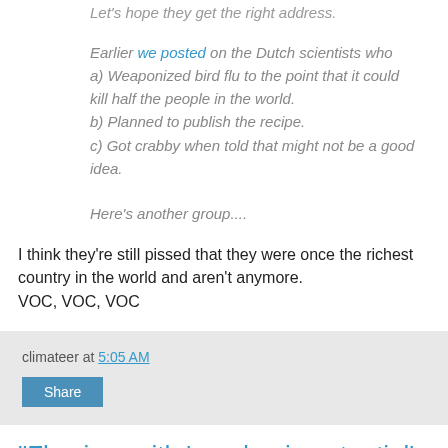Let's hope they get the right address.
Earlier we posted on the Dutch scientists who a) Weaponized bird flu to the point that it could kill half the people in the world. b) Planned to publish the recipe. c) Got crabby when told that might not be a good idea.
Here's another group....
I think they're still pissed that they were once the richest country in the world and aren't anymore. VOC, VOC, VOC
climateer at 5:05 AM
Share
"Flu virus with 'pandemic potential' found in China"